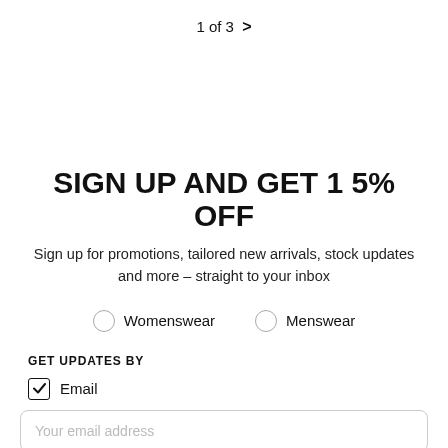1 of 3 >
SIGN UP AND GET 15% OFF
Sign up for promotions, tailored new arrivals, stock updates and more – straight to your inbox
Womenswear   Menswear
GET UPDATES BY
Email
Your email address